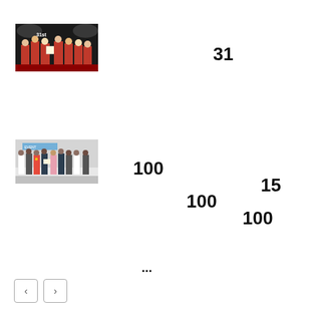[Figure (photo): Group photo at a 31st convocation ceremony with people in red graduation gowns holding a certificate, dark background with '31st' text visible]
31
[Figure (photo): Group photo of people in a formal setting, some wearing medals, indoors with banners in background]
100
15
100
100
...